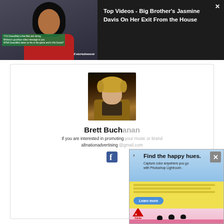[Figure (screenshot): Video thumbnail showing a woman in a red jacket with dark hair, with green text overlay. Entertainment Weekly branding visible.]
Top Videos - Big Brother's Jasmine Davis On Her Exit From the House
[Figure (photo): Photo of Brett Buchanan, a young man with blond curly hair wearing a tan/brown jacket.]
Brett Buch
If you are interested in promoting altnationadvertising @
[Figure (screenshot): Adobe Photoshop Lightroom advertisement with blue sky header reading 'Find the happy hues. Capture color anywhere you go with Photoshop Lightroom.' Yellow lined paper body with Learn more button. Birds on pink surface at bottom with Adobe logo.]